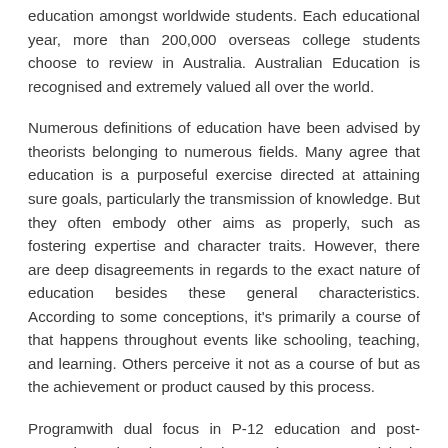education amongst worldwide students. Each educational year, more than 200,000 overseas college students choose to review in Australia. Australian Education is recognised and extremely valued all over the world.
Numerous definitions of education have been advised by theorists belonging to numerous fields. Many agree that education is a purposeful exercise directed at attaining sure goals, particularly the transmission of knowledge. But they often embody other aims as properly, such as fostering expertise and character traits. However, there are deep disagreements in regards to the exact nature of education besides these general characteristics. According to some conceptions, it's primarily a course of that happens throughout events like schooling, teaching, and learning. Others perceive it not as a course of but as the achievement or product caused by this process.
Programwith dual focus in P-12 education and post-secondary education methods. Yet, there was surprisingly little systematic research on the kinds of information education decision-makers in creating countries worth most—and why. Much of the obtainable evidence on the use of education information in